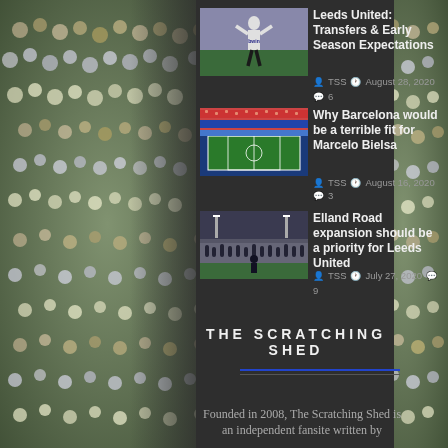[Figure (photo): Crowd of football fans on the left side background]
[Figure (photo): Crowd of football fans on the right side background]
Leeds United: Transfers & Early Season Expectations
TSS  August 28, 2020  6
Why Barcelona would be a terrible fit for Marcelo Bielsa
TSS  August 16, 2020  3
Elland Road expansion should be a priority for Leeds United
TSS  July 27, 2020  9
THE SCRATCHING SHED
Founded in 2008, The Scratching Shed is an independent fansite written by